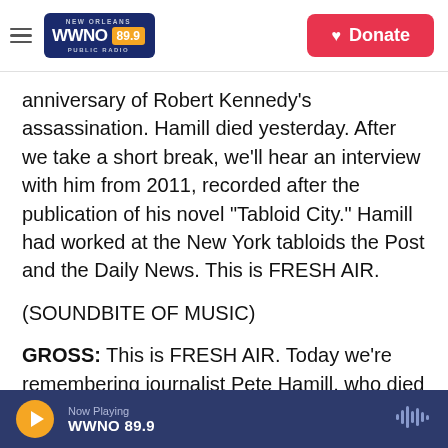WWNO 89.9 Public Radio — New Orleans | Donate
anniversary of Robert Kennedy's assassination. Hamill died yesterday. After we take a short break, we'll hear an interview with him from 2011, recorded after the publication of his novel "Tabloid City." Hamill had worked at the New York tabloids the Post and the Daily News. This is FRESH AIR.
(SOUNDBITE OF MUSIC)
GROSS: This is FRESH AIR. Today we're remembering journalist Pete Hamill, who died yesterday at the age of 85. Hamill wrote for several magazines and New York newspapers, but he was
Now Playing WWNO 89.9